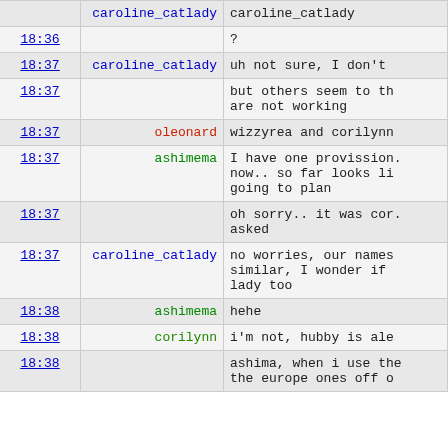| time | user | message |
| --- | --- | --- |
|  | caroline_catlady | caroline_catlady |
| 18:36 |  | ? |
| 18:37 | caroline_catlady | uh not sure, I don't |
| 18:37 |  | but others seem to th are not working |
| 18:37 | oleonard | wizzyrea and corilynn |
| 18:37 | ashimema | I have one provission now.. so far looks li going to plan |
| 18:37 |  | oh sorry.. it was cor asked |
| 18:37 | caroline_catlady | no worries, our names similar, I wonder if lady too |
| 18:38 | ashimema | hehe |
| 18:38 | corilynn | i'm not, hubby is ale |
| 18:38 |  | ashima, when i use the the europe ones off o |